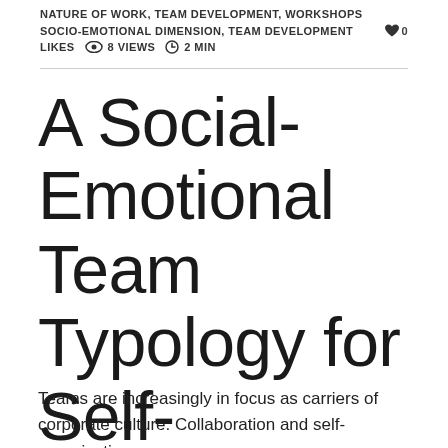NATURE OF WORK, TEAM DEVELOPMENT, WORKSHOPS
SOCIO-EMOTIONAL DIMENSION, TEAM DEVELOPMENT  ♥ 0 LIKES  👁 8 VIEWS  🕐 2 MIN
A Social-Emotional Team Typology for Self-Organizing Organizations
Teams are increasingly in focus as carriers of corporate culture. Collaboration and self-organization have become essential elements of contemporary organizations.